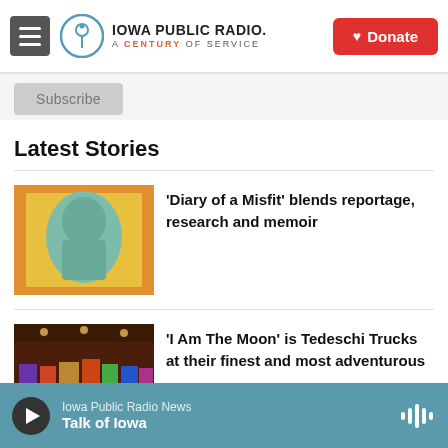Iowa Public Radio. A Century of Service | Donate
Subscribe
Latest Stories
'Diary of a Misfit' blends reportage, research and memoir
'I Am The Moon' is Tedeschi Trucks at their finest and most adventurous
Iowa Public Radio News
Talk of Iowa